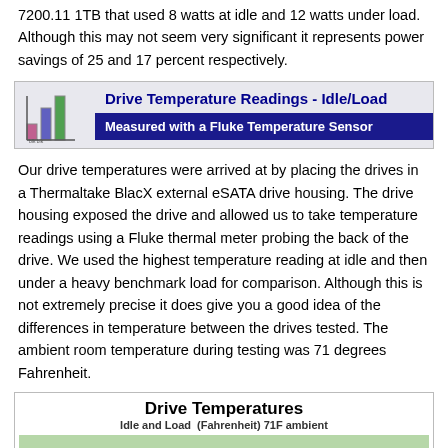7200.11 1TB that used 8 watts at idle and 12 watts under load. Although this may not seem very significant it represents power savings of 25 and 17 percent respectively.
Drive Temperature Readings - Idle/Load | Measured with a Fluke Temperature Sensor
Our drive temperatures were arrived at by placing the drives in a Thermaltake BlacX external eSATA drive housing. The drive housing exposed the drive and allowed us to take temperature readings using a Fluke thermal meter probing the back of the drive. We used the highest temperature reading at idle and then under a heavy benchmark load for comparison. Although this is not extremely precise it does give you a good idea of the differences in temperature between the drives tested. The ambient room temperature during testing was 71 degrees Fahrenheit.
[Figure (bar-chart): Drive Temperatures - Idle and Load (Fahrenheit) 71F ambient, partial chart showing top of bar at 84.1]